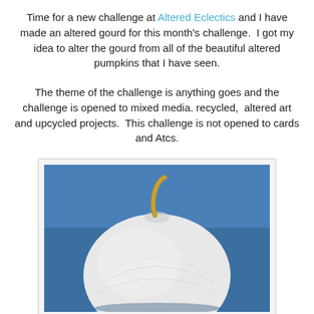Time for a new challenge at Altered Eclectics and I have made an altered gourd for this month's challenge.  I got my idea to alter the gourd from all of the beautiful altered pumpkins that I have seen.
The theme of the challenge is anything goes and the challenge is opened to mixed media. recycled,  altered art and upcycled projects.  This challenge is not opened to cards and Atcs.
[Figure (photo): A white painted gourd with a tan/golden curved stem, photographed against a blue background. The gourd is round and pumpkin-shaped, covered in white paint showing brush texture.]